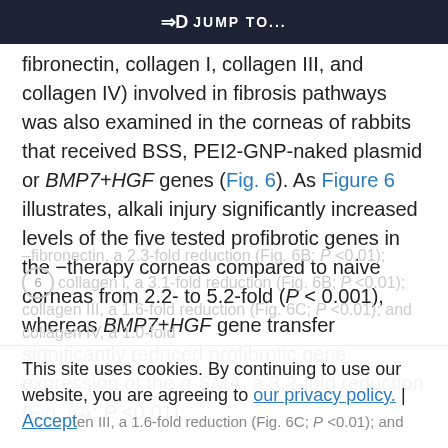⇒D JUMP TO...
fibronectin, collagen I, collagen III, and collagen IV) involved in fibrosis pathways was also examined in the corneas of rabbits that received BSS, PEI2-GNP-naked plasmid or BMP7+HGF genes (Fig. 6). As Figure 6 illustrates, alkali injury significantly increased levels of the five tested profibrotic genes in the −therapy corneas compared to naive corneas from 2.2- to 5.2-fold (P < 0.001), whereas BMP7+HGF gene transfer significantly reduced profibrotic gene expression of the α-SMA, a 3.2-fold reduction (Fig. 6A; P <0.01);
–fibronectin, a 2.3-fold reduction (Fig. 6B; P <0.01); collagen I, a 3.1-fold reduction (Fig. 6B; P <0.01); collagen III, a 1.6-fold reduction (Fig. 6C; P <0.01); and collagen IV, a 1.0-fold reduction (Fig. 6D;
This site uses cookies. By continuing to use our website, you are agreeing to our privacy policy. Accept